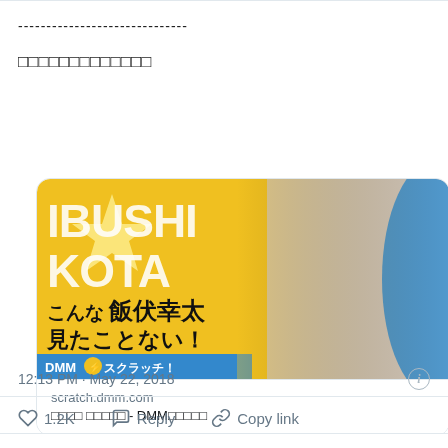------------------------------
□□□□□□□□□□□□□
[Figure (screenshot): DMM Scratch advertisement card featuring wrestler Kota Ibushi with text 'IBUSHI KOTA' and Japanese text 'こんな飯伏幸太見たことない！' with DMM スクラッチ logo. Below: scratch.dmm.com URL and Japanese subtitle text.]
12:13 PM · May 22, 2018
♡ 1.2K   Reply   Copy link